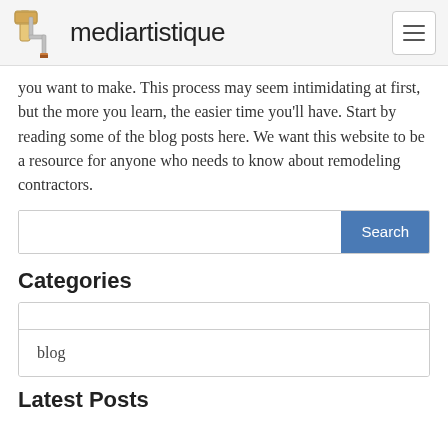mediartistique
you want to make. This process may seem intimidating at first, but the more you learn, the easier time you'll have. Start by reading some of the blog posts here. We want this website to be a resource for anyone who needs to know about remodeling contractors.
Search
Categories
blog
Latest Posts